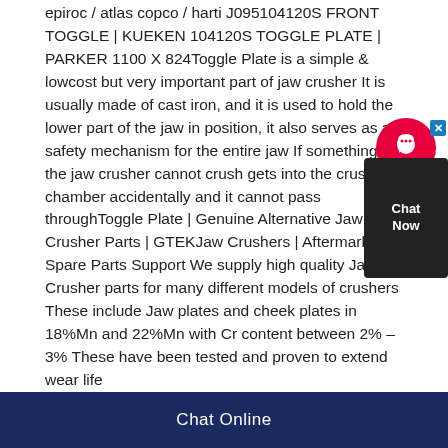epiroc / atlas copco / harti J095104120S FRONT TOGGLE | KUEKEN 104120S TOGGLE PLATE | PARKER 1100 X 824Toggle Plate is a simple & lowcost but very important part of jaw crusher It is usually made of cast iron, and it is used to hold the lower part of the jaw in position, it also serves as a safety mechanism for the entire jaw If something that the jaw crusher cannot crush gets into the crushing chamber accidentally and it cannot pass throughToggle Plate | Genuine Alternative Jaw Crusher Parts | GTEKJaw Crushers | Aftermarket Spare Parts Support We supply high quality Jaw Crusher parts for many different models of crushers These include Jaw plates and cheek plates in 18%Mn and 22%Mn with Cr content between 2% – 3% These have been tested and proven to extend wear life
[Figure (other): Chat Now widget with red circular icon and dark background box showing 'Chat Now' text with a close button]
Chat Online